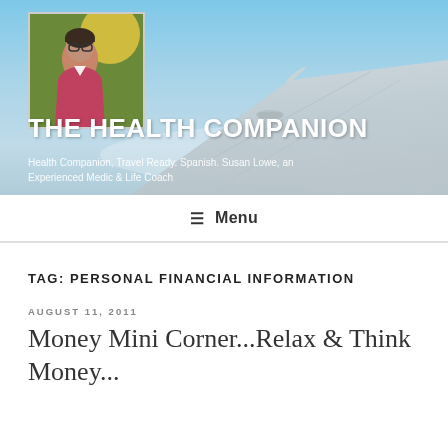[Figure (photo): Website header banner with airplane wing visible against a blue sky background, and a profile photo of a woman in top-left corner]
THE HEALTH COMPANION
Health Companion, Travel Ready. Spanish. Susan Lowe, an Experienced Medic & Life Coach
≡ Menu
TAG: PERSONAL FINANCIAL INFORMATION
AUGUST 11, 2011
Money Mini Corner...Relax & Think Money...